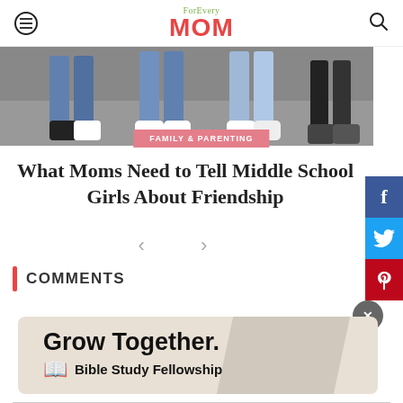For Every MOM
[Figure (photo): Photograph showing legs and feet of several teenagers/girls standing on pavement, wearing jeans and sneakers]
FAMILY & PARENTING
What Moms Need to Tell Middle School Girls About Friendship
COMMENTS
[Figure (infographic): Advertisement banner with text: Grow Together. Bible Study Fellowship, with book icon on beige background]